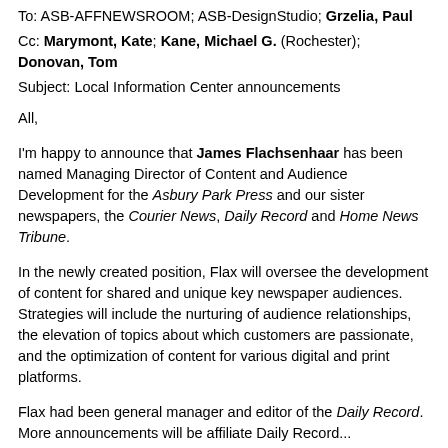To: ASB-AFFNEWSROOM; ASB-DesignStudio; Grzelia, Paul
Cc: Marymont, Kate; Kane, Michael G. (Rochester); Donovan, Tom
Subject: Local Information Center announcements
All,
I'm happy to announce that James Flachsenhaar has been named Managing Director of Content and Audience Development for the Asbury Park Press and our sister newspapers, the Courier News, Daily Record and Home News Tribune.
In the newly created position, Flax will oversee the development of content for shared and unique key newspaper audiences. Strategies will include the nurturing of audience relationships, the elevation of topics about which customers are passionate, and the optimization of content for various digital and print platforms.
Flax had been general manager and editor of the Daily Record. More announcements will be affiliate Daily Record...